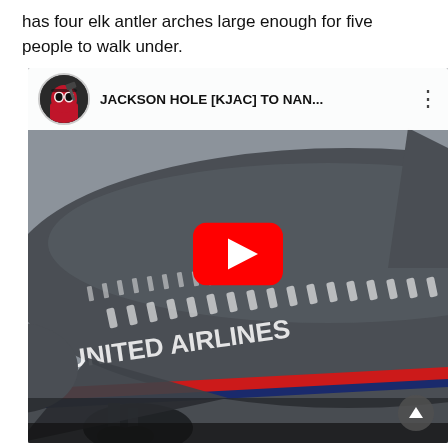has four elk antler arches large enough for five people to walk under.
[Figure (screenshot): Embedded YouTube video thumbnail showing a United Airlines airplane on the ground in foggy/grey conditions. The video title reads 'JACKSON HOLE [KJAC] TO NAN...' with a Deadpool-themed channel avatar. A red YouTube play button is centered on the thumbnail.]